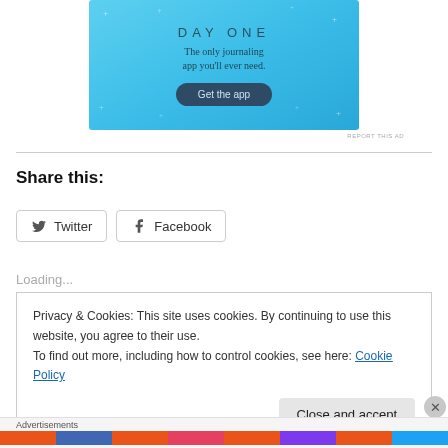[Figure (screenshot): Day One journaling app advertisement with light blue background, showing title 'DAY ONE', tagline 'The only journaling app you'll ever need.', and a dark 'Get the app' button with sparkle decorations.]
REPORT THIS AD
Share this:
Twitter   Facebook
Loading...
Privacy & Cookies: This site uses cookies. By continuing to use this website, you agree to their use.
To find out more, including how to control cookies, see here: Cookie Policy
Close and accept
Advertisements